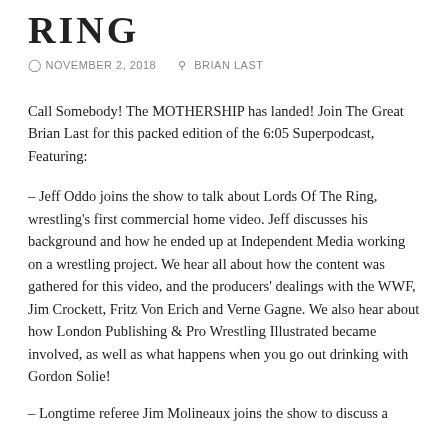RING
NOVEMBER 2, 2018  BRIAN LAST
Call Somebody!  The MOTHERSHIP has landed!  Join The Great Brian Last for this packed edition of the 6:05 Superpodcast, Featuring:
– Jeff Oddo joins the show to talk about Lords Of The Ring, wrestling's first commercial home video.  Jeff discusses his background and how he ended up at Independent Media working on a wrestling project.  We hear all about how the content was gathered for this video, and the producers' dealings with the WWF, Jim Crockett, Fritz Von Erich and Verne Gagne.  We also hear about how London Publishing & Pro Wrestling Illustrated became involved, as well as what happens when you go out drinking with Gordon Solie!
– Longtime referee Jim Molineaux joins the show to discuss a